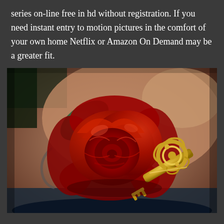series on-line free in hd without registration. If you need instant entry to motion pictures in the comfort of your own home Netflix or Amazon On Demand may be a greater fit.
[Figure (photo): A detailed tattoo on a person's shoulder/chest area depicting a red rose with a green leaf and a decorative gold skeleton key overlapping the rose stem.]